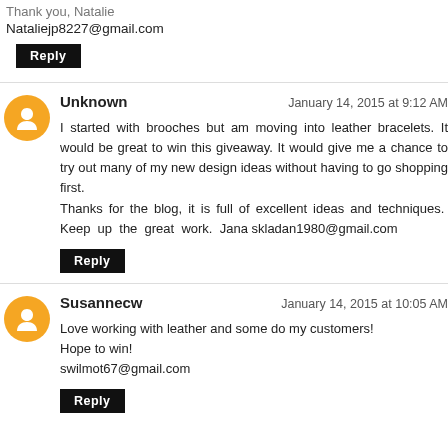Thank you, Natalie
Nataliejp8227@gmail.com
Reply
Unknown
January 14, 2015 at 9:12 AM
I started with brooches but am moving into leather bracelets. It would be great to win this giveaway. It would give me a chance to try out many of my new design ideas without having to go shopping first.
Thanks for the blog, it is full of excellent ideas and techniques. Keep up the great work. Jana skladan1980@gmail.com
Reply
Susannecw
January 14, 2015 at 10:05 AM
Love working with leather and some do my customers!
Hope to win!
swilmot67@gmail.com
Reply